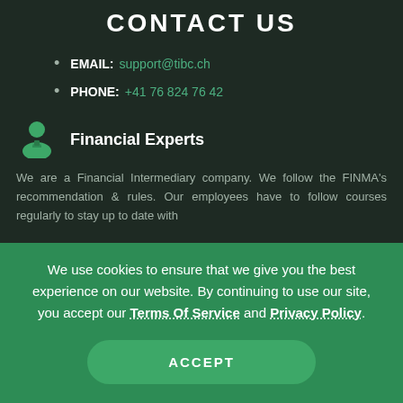CONTACT US
EMAIL: support@tibc.ch
PHONE: +41 76 824 76 42
Financial Experts
We are a Financial Intermediary company. We follow the FINMA's recommendation & rules. Our employees have to follow courses regularly to stay up to date with
We use cookies to ensure that we give you the best experience on our website. By continuing to use our site, you accept our Terms Of Service and Privacy Policy.
ACCEPT